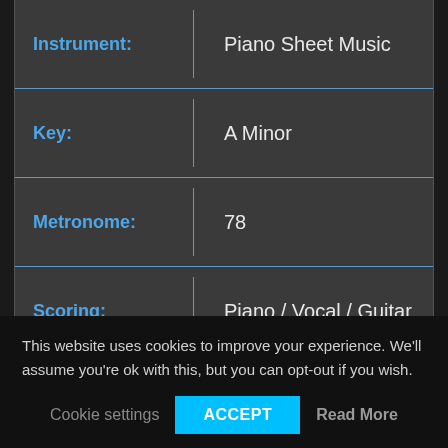| Label | Value |
| --- | --- |
| Instrument: | Piano Sheet Music |
| Key: | A Minor |
| Metronome: | 78 |
| Scoring: | Piano / Vocal / Guitar |
| Styles: | Pop |
| Difficulty: | Medium |
This website uses cookies to improve your experience. We'll assume you're ok with this, but you can opt-out if you wish.